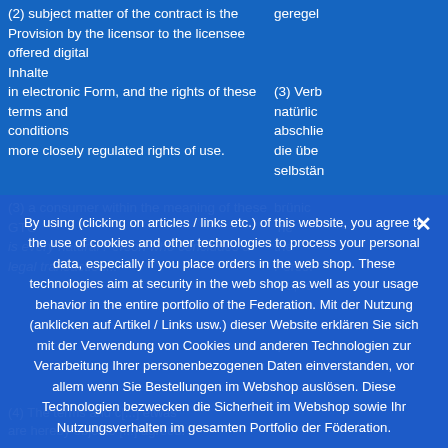(2) subject matter of the contract is the Provision by the licensor to the licensee offered digital Inhalte in electronic Form, and the rights of these terms and conditions more closely regulated rights of use.
(3) a consumer within the meaning of these GTC is every natural Person who concludes a legal transaction...
By using (clicking on articles / links etc.) of this website, you agree to the use of cookies and other technologies to process your personal data, especially if you place orders in the web shop. These technologies aim at security in the web shop as well as your usage behavior in the entire portfolio of the Federation. Mit der Nutzung (anklicken auf Artikel / Links usw.) dieser Website erklären Sie sich mit der Verwendung von Cookies und anderen Technologien zur Verarbeitung Ihrer personenbezogenen Daten einverstanden, vor allem wenn Sie Bestellungen im Webshop auslösen. Diese Technologien bezwecken die Sicherheit im Webshop sowie Ihr Nutzungsverhalten im gesamten Portfolio der Föderation.
(4) The terms and conditions are hereby objected ... agreed.